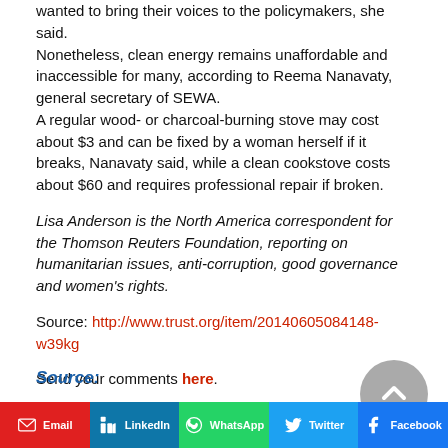wanted to bring their voices to the policymakers, she said.
Nonetheless, clean energy remains unaffordable and inaccessible for many, according to Reema Nanavaty, general secretary of SEWA.
A regular wood- or charcoal-burning stove may cost about $3 and can be fixed by a woman herself if it breaks, Nanavaty said, while a clean cookstove costs about $60 and requires professional repair if broken.
Lisa Anderson is the North America correspondent for the Thomson Reuters Foundation, reporting on humanitarian issues, anti-corruption, good governance and women's rights.
Source: http://www.trust.org/item/20140605084148-w39kg
Send your comments here.
Source:
[Figure (other): Social media share buttons: Email, LinkedIn, WhatsApp, Twitter, Facebook]